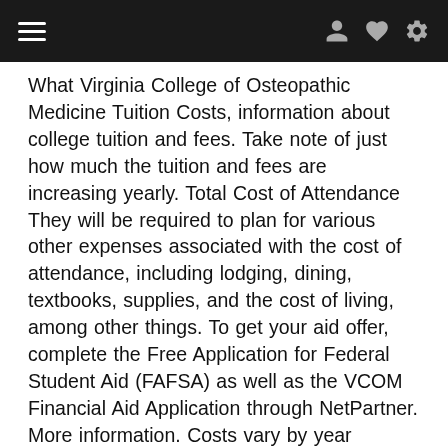navigation bar with hamburger menu and icons
What Virginia College of Osteopathic Medicine Tuition Costs, information about college tuition and fees. Take note of just how much the tuition and fees are increasing yearly. Total Cost of Attendance They will be required to plan for various other expenses associated with the cost of attendance, including lodging, dining, textbooks, supplies, and the cost of living, among other things. To get your aid offer, complete the Free Application for Federal Student Aid (FAFSA) as well as the VCOM Financial Aid Application through NetPartner. More information. Costs vary by year Scholarships and grants are the best options for financial aid if you can get them, but they're often very competitive and don't always cover your full cost of attendance. Location: Blacksburg, VA; GPA: 3.5; MCAT: 500; Tuition: $46,900 In-state, $46,900 Out-of-state ; Public/Private: Private; The Edward Via College of Osteopathic Medicine is one of the best DO schools that offers plenty of assistance to boost its cost